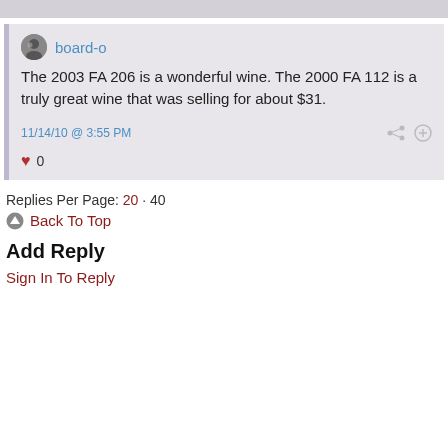board-o
The 2003 FA 206 is a wonderful wine. The 2000 FA 112 is a truly great wine that was selling for about $31.
11/14/10 @ 3:55 PM
♥ 0
Replies Per Page: 20 · 40
Back To Top
Add Reply
Sign In To Reply